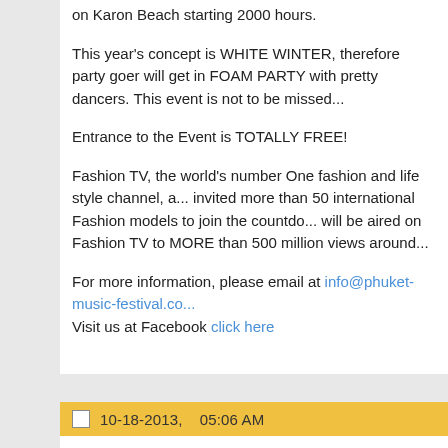on Karon Beach starting 2000 hours.
This year's concept is WHITE WINTER, therefore party goer will get in FOAM PARTY with pretty dancers. This event is not to be missed...
Entrance to the Event is TOTALLY FREE!
Fashion TV, the world's number One fashion and life style channel, a... invited more than 50 international Fashion models to join the countdo... will be aired on Fashion TV to MORE than 500 million views around...
For more information, please email at info@phuket-music-festival.co... Visit us at Facebook click here
10-18-2013,    05:06 AM
marystratton
Junior Member
I wish this event get successful and one great thing that I like most is...
Last edited by marystratton; 10-19-2013 at 07:11 AM.